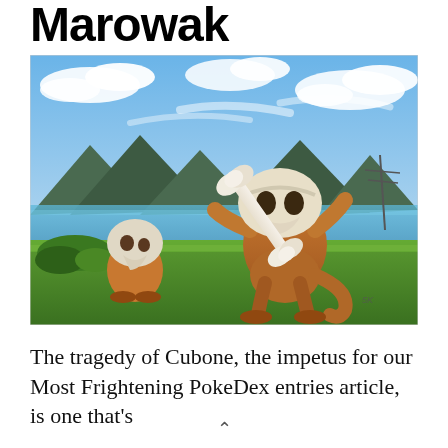Marowak
[Figure (illustration): Fan art illustration of Cubone (small) and Marowak (large) Pokemon standing on grass with a blue sky, mountains, and lake in the background. Marowak holds a large bone club over its shoulder. Artist signature visible in lower right.]
The tragedy of Cubone, the impetus for our Most Frightening PokeDex entries article, is one that's